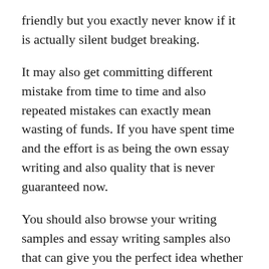friendly but you exactly never know if it is actually silent budget breaking.
It may also get committing different mistake from time to time and also repeated mistakes can exactly mean wasting of funds. If you have spent time and the effort is as being the own essay writing and also quality that is never guaranteed now.
You should also browse your writing samples and essay writing samples also that can give you the perfect idea whether the quality of essays you want.
Good essay writing services to the rescue
Paper writing qualities can exactly be such stress and with the pressure so actually not required to worry so it is due to